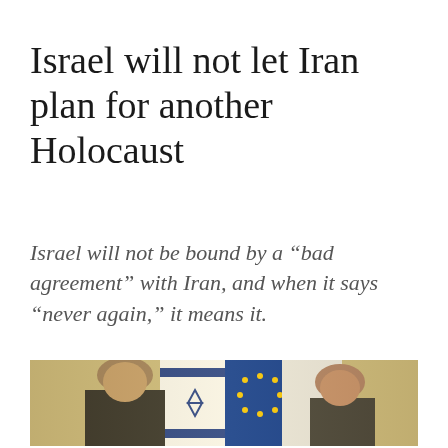Israel will not let Iran plan for another Holocaust
Israel will not be bound by a “bad agreement” with Iran, and when it says “never again,” it means it.
[Figure (photo): Two political figures standing in front of flags including the Israeli flag with Star of David and the EU flag with yellow stars on blue background, in an ornate room.]